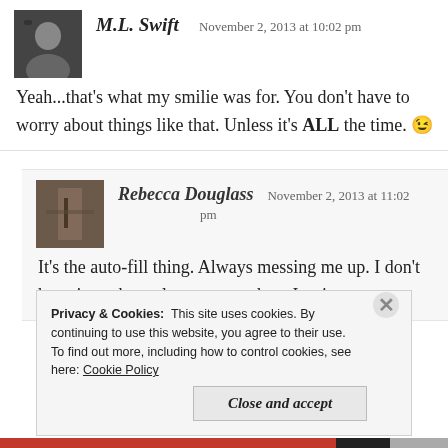M.L. Swift   November 2, 2013 at 10:02 pm
Yeah...that's what my smilie was for. You don't have to worry about things like that. Unless it's ALL the time. 😉
Rebecca Douglass   November 2, 2013 at 11:02 pm
It's the auto-fill thing. Always messing me up. I don't have it on the real computer where I write.
Privacy & Cookies:  This site uses cookies. By continuing to use this website, you agree to their use.
To find out more, including how to control cookies, see here: Cookie Policy
Close and accept